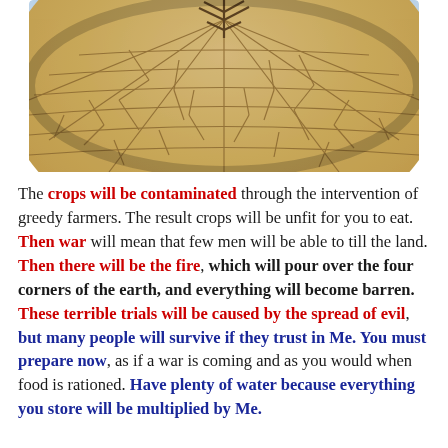[Figure (photo): Wide-angle fisheye photo of a severely cracked, dry desert landscape with parched earth forming polygon patterns. A bare dead tree or branch is visible at the top center against a pale blue sky.]
The crops will be contaminated through the intervention of greedy farmers. The result crops will be unfit for you to eat. Then war will mean that few men will be able to till the land. Then there will be the fire, which will pour over the four corners of the earth, and everything will become barren. These terrible trials will be caused by the spread of evil, but many people will survive if they trust in Me. You must prepare now, as if a war is coming and as you would when food is rationed. Have plenty of water because everything you store will be multiplied by Me.